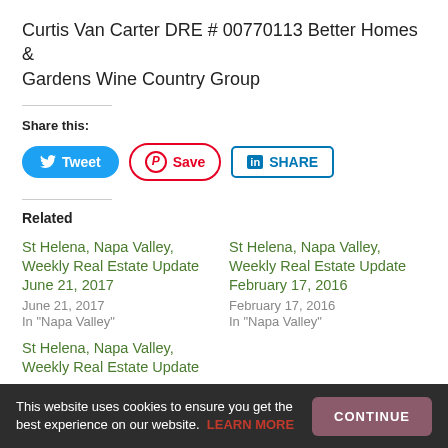Curtis Van Carter DRE # 00770113 Better Homes & Gardens Wine Country Group
Share this:
[Figure (infographic): Social share buttons: Tweet (blue), Save (Pinterest, red border), SHARE (LinkedIn, blue border)]
Related
St Helena, Napa Valley, Weekly Real Estate Update June 21, 2017
June 21, 2017
In 'Napa Valley'
St Helena, Napa Valley, Weekly Real Estate Update February 17, 2016
February 17, 2016
In 'Napa Valley'
St Helena, Napa Valley, Weekly Real Estate Update [partial]
This website uses cookies to ensure you get the best experience on our website. LEARN MORE  CONTINUE